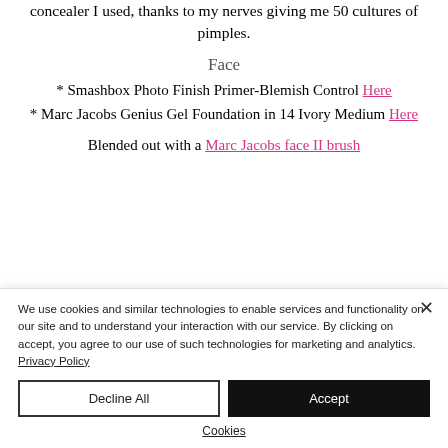concealer I used, thanks to my nerves giving me 50 cultures of pimples.
Face
* Smashbox Photo Finish Primer-Blemish Control Here
* Marc Jacobs Genius Gel Foundation in 14 Ivory Medium Here
Blended out with a Marc Jacobs face II brush
We use cookies and similar technologies to enable services and functionality on our site and to understand your interaction with our service. By clicking on accept, you agree to our use of such technologies for marketing and analytics. Privacy Policy
Decline All
Accept
Cookies